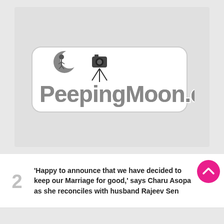[Figure (logo): PeepingMoon.com logo — stylized text with a crescent moon and camera mascot on a light gray background]
2  'Happy to announce that we have decided to keep our Marriage for good,' says Charu Asopa as she reconciles with husband Rajeev Sen